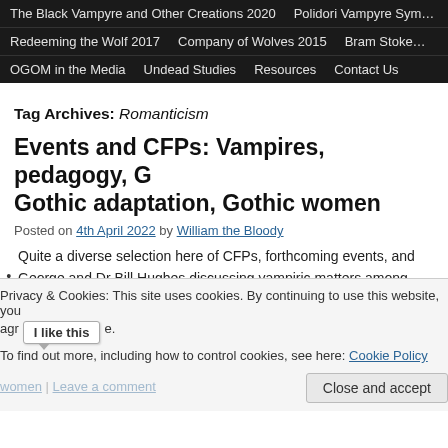The Black Vampyre and Other Creations 2020  Polidori Vampyre Sym…  Redeeming the Wolf 2017  Company of Wolves 2015  Bram Stoke…  OGOM in the Media  Undead Studies  Resources  Contact Us
Tag Archives: Romanticism
Events and CFPs: Vampires, pedagogy, Gothic adaptation, Gothic women
Posted on 4th April 2022 by William the Bloody
Quite a diverse selection here of CFPs, forthcoming events, and… George and Dr Bill Hughes discussing vampiric matters among…
Privacy & Cookies: This site uses cookies. By continuing to use this website, you agr… To find out more, including how to control cookies, see here: Cookie Policy
women | Leave a comment